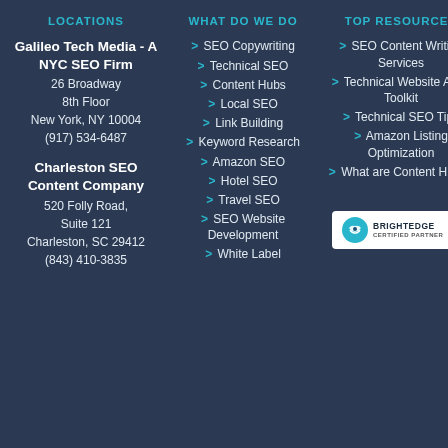LOCATIONS
Galileo Tech Media - A NYC SEO Firm
26 Broadway
8th Floor
New York, NY 10004
(917) 534-6487
Charleston SEO Content Company
520 Folly Road, Suite 121
Charleston, SC 29412
(843) 410-3835
WHAT DO WE DO
> SEO Copywriting
> Technical SEO
> Content Hubs
> Local SEO
> Link Building
> Keyword Research
> Amazon SEO
> Hotel SEO
> Travel SEO
> SEO Website Development
> White Label
TOP RESOURCES
> SEO Content Writing Services
> Technical Website Audit Toolkit
> Technical SEO Tips
> Amazon Listing Optimization
> What are Content Hubs?
[Figure (logo): BrightEdge Certified Partner logo with handshake icon]